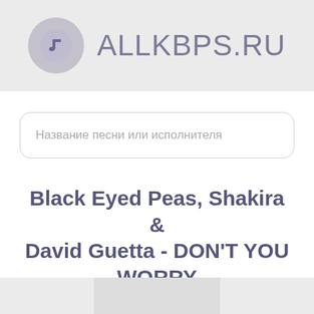ALLKBPS.RU
Название песни или исполнителя
Black Eyed Peas, Shakira & David Guetta - DON'T YOU WORRY